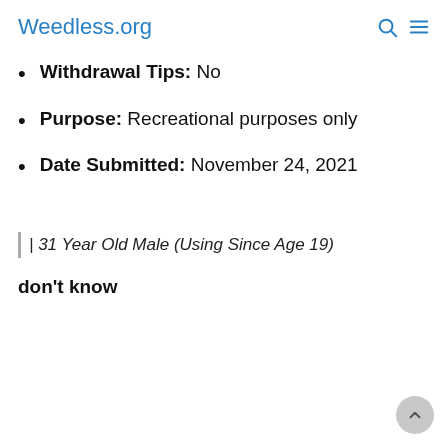Weedless.org
Withdrawal Tips: No
Purpose: Recreational purposes only
Date Submitted: November 24, 2021
| 31 Year Old Male (Using Since Age 19)
don't know